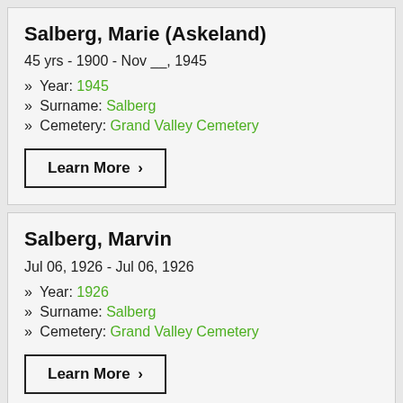Salberg, Marie (Askeland)
45 yrs - 1900 - Nov __, 1945
» Year: 1945
» Surname: Salberg
» Cemetery: Grand Valley Cemetery
Learn More >
Salberg, Marvin
Jul 06, 1926 - Jul 06, 1926
» Year: 1926
» Surname: Salberg
» Cemetery: Grand Valley Cemetery
Learn More >